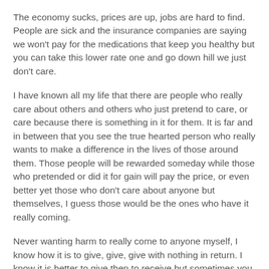The economy sucks, prices are up, jobs are hard to find. People are sick and the insurance companies are saying we won't pay for the medications that keep you healthy but you can take this lower rate one and go down hill we just don't care.
I have known all my life that there are people who really care about others and others who just pretend to care, or care because there is something in it for them. It is far and in between that you see the true hearted person who really wants to make a difference in the lives of those around them. Those people will be rewarded someday while those who pretended or did it for gain will pay the price, or even better yet those who don't care about anyone but themselves, I guess those would be the ones who have it really coming.
Never wanting harm to really come to anyone myself, I know how it is to give, give, give with nothing in return. I know it is better to give then to receive but sometimes you just want a little back, and to be honest it isn't like I haven't  seen a return because I have, little miracles here bigger ones there. Sometimes as a human we forget our path, and have to right